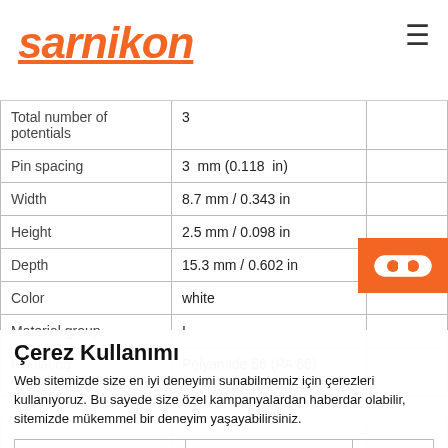sarnikon
| Name | Value | Unit |
| --- | --- | --- |
| Total number of potentials | 3 |  |
| Pin spacing | 3  mm (0.118  in) |  |
| Width | 8.7 mm / 0.343 in |  |
| Height | 2.5 mm / 0.098 in |  |
| Depth | 15.3 mm / 0.602 in |  |
| Color | white |  |
| Material group | I |  |
| Insulating material | Polyamide 66 (PA 66) |  |
| Flammability | V0 |  |
| Friction [MJ] | 0.002 | MJ |
|  | 0.19 | g |
Çerez Kullanımı
Web sitemizde size en iyi deneyimi sunabilmemiz için çerezleri kullanıyoruz. Bu sayede size özel kampanyalardan haberdar olabilir, sitemizde mükemmel bir deneyim yaşayabilirsiniz.
Kapat